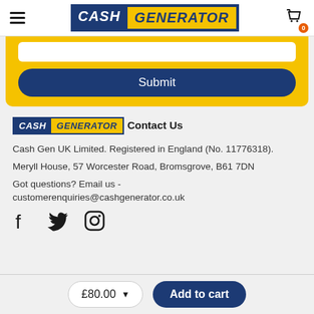[Figure (logo): Cash Generator logo in navigation bar with hamburger menu and cart icon]
[Figure (screenshot): Yellow form area with white input bar and Submit button]
[Figure (logo): Cash Generator small logo in footer section]
Contact Us
Cash Gen UK Limited. Registered in England (No. 11776318).
Meryll House, 57 Worcester Road, Bromsgrove, B61 7DN
Got questions? Email us - customerenquiries@cashgenerator.co.uk
[Figure (illustration): Social media icons: Facebook, Twitter, Instagram]
£80.00
Add to cart